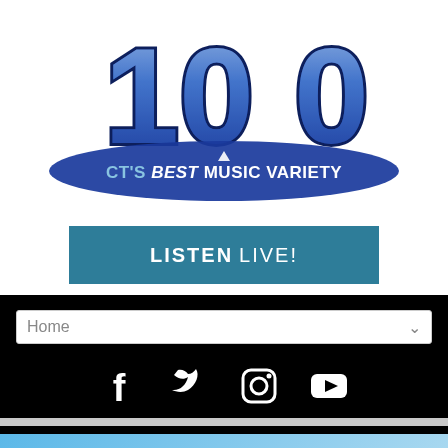[Figure (logo): Radio station logo showing '100' in large metallic blue 3D letters with dark blue outline, with text 'CT'S BEST MUSIC VARIETY' below in white bold text on blue arc]
LISTEN LIVE!
Home
[Figure (infographic): Social media icons: Facebook, Twitter, Instagram, YouTube in white on black background]
[Figure (logo): Bottom promo area with webe 108 and Spector Eye Care logos, and 'REGISTER TODAY' text in red]